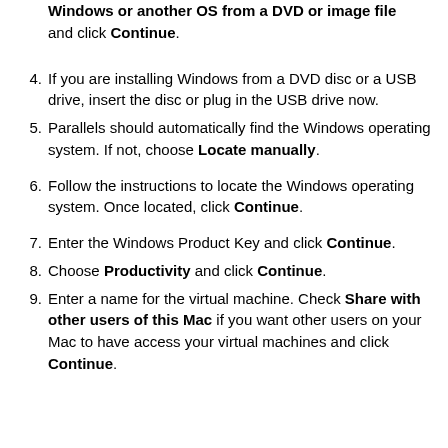Windows or another OS from a DVD or image file and click Continue.
4. If you are installing Windows from a DVD disc or a USB drive, insert the disc or plug in the USB drive now.
5. Parallels should automatically find the Windows operating system. If not, choose Locate manually.
6. Follow the instructions to locate the Windows operating system. Once located, click Continue.
7. Enter the Windows Product Key and click Continue.
8. Choose Productivity and click Continue.
9. Enter a name for the virtual machine. Check Share with other users of this Mac if you want other users on your Mac to have access your virtual machines and click Continue.